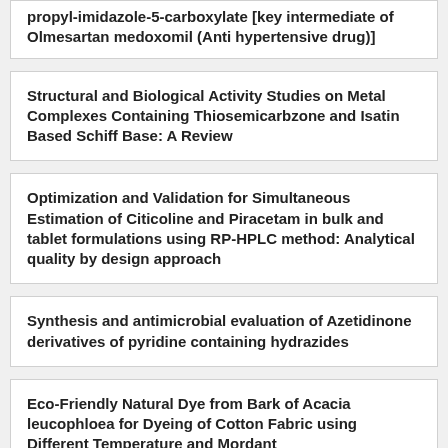propyl-imidazole-5-carboxylate [key intermediate of Olmesartan medoxomil (Anti hypertensive drug)]
Structural and Biological Activity Studies on Metal Complexes Containing Thiosemicarbzone and Isatin Based Schiff Base: A Review
Optimization and Validation for Simultaneous Estimation of Citicoline and Piracetam in bulk and tablet formulations using RP-HPLC method: Analytical quality by design approach
Synthesis and antimicrobial evaluation of Azetidinone derivatives of pyridine containing hydrazides
Eco-Friendly Natural Dye from Bark of Acacia leucophloea for Dyeing of Cotton Fabric using Different Temperature and Mordant